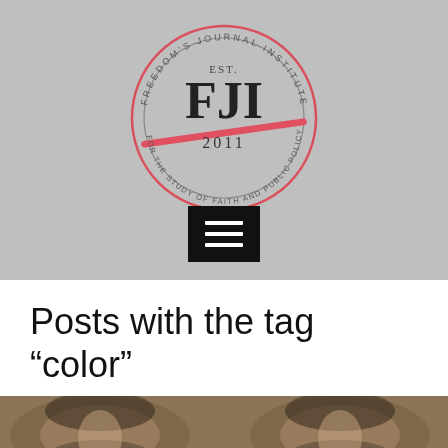[Figure (logo): Freedom's Journal Institute circular logo with FJI monogram, EST. 2011, and text 'FOR THE STUDY OF FAITH AND PUBLIC POLICY', red circle and red diagonal line accent]
[Figure (other): Hamburger menu icon — black square with three white horizontal lines]
Posts with the tag “color”
[Figure (photo): Partial sepia-toned photograph showing two people wearing large fur-trimmed hoods]